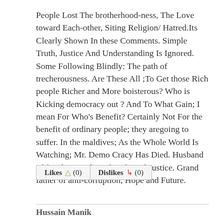People Lost The brotherhood-ness, The Love toward Each-other, Siting Religion/ Hatred.Its Clearly Shown In these Comments. Simple Truth, Justice And Understanding Is Ignored. Some Following Blindly: The path of trecherousness. Are These All ;To Get those Rich people Richer and More boisterous? Who is Kicking democracy out ? And To What Gain; I mean For Who's Benefit? Certainly Not For the benefit of ordinary people; they aregoing to suffer. In the maldives; As the Whole World Is Watching; Mr. Demo Cracy Has Died. Husband of freedom ,Father of truth And Justice. Grand father of anti-corruption, Hope and Future.
Likes (0)   Dislikes (0)
Hussain Manik